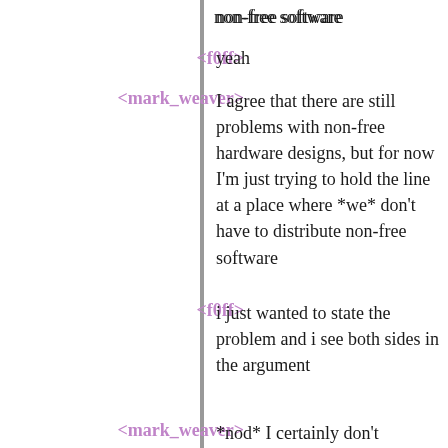non-free software
<f0ff> yeah
<mark_weaver> I agree that there are still problems with non-free hardware designs, but for now I'm just trying to hold the line at a place where *we* don't have to distribute non-free software
<f0ff> i just wanted to state the problem and i see both sides in the argument
<mark_weaver> *nod* I certainly don't